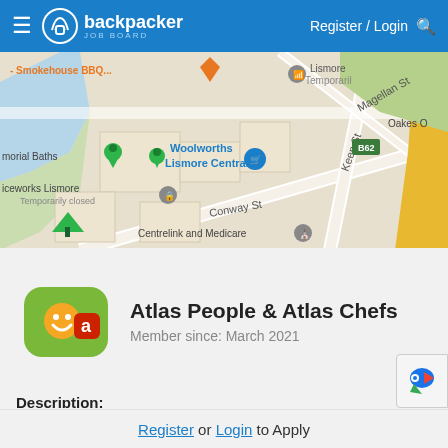backpacker JOB BOARD — Register / Login
[Figure (map): Google Maps view of Lismore, NSW showing Woolworths Lismore Central, Centrelink and Medicare, Conway St, Keen St, Magellan St, memorial Baths, Iceworks Lismore Temporarily closed, Smokehouse BBQ, Oakes O, B62 road marker, and a Lismore Temporarily marker.]
Atlas People & Atlas Chefs
Member since: March 2021
Description:
Atlas People in Australia & Atlas Chefs in New Zealand are the chef and hospitality recruitment specialists. Whethe
Register or Login to Apply